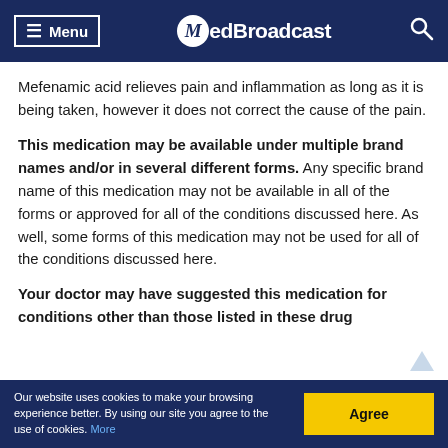Menu | MedBroadcast
Mefenamic acid relieves pain and inflammation as long as it is being taken, however it does not correct the cause of the pain.
This medication may be available under multiple brand names and/or in several different forms. Any specific brand name of this medication may not be available in all of the forms or approved for all of the conditions discussed here. As well, some forms of this medication may not be used for all of the conditions discussed here.
Your doctor may have suggested this medication for conditions other than those listed in these drug
Our website uses cookies to make your browsing experience better. By using our site you agree to the use of cookies. More